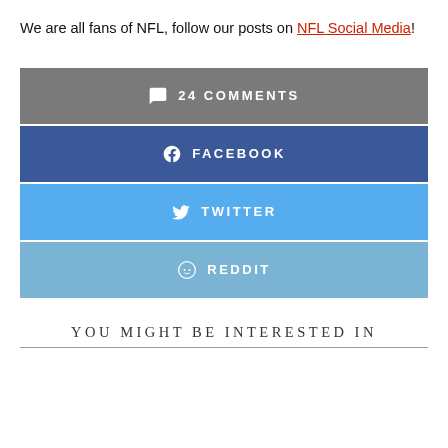We are all fans of NFL, follow our posts on NFL Social Media!
[Figure (infographic): Social sharing buttons: 24 Comments (gray), Facebook (dark blue), Twitter (light blue), Reddit (steel blue)]
YOU MIGHT BE INTERESTED IN